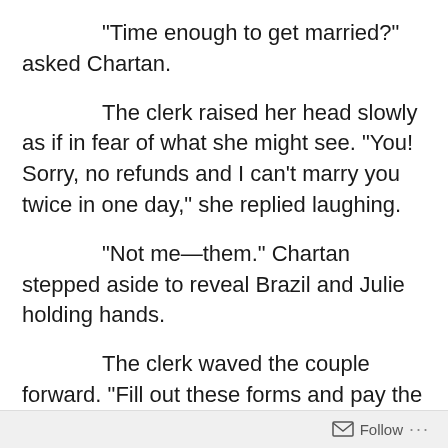“Time enough to get married?” asked Chartan.
The clerk raised her head slowly as if in fear of what she might see. “You!  Sorry, no refunds and I can’t marry you twice in one day,” she replied laughing.
“Not me—them.” Chartan stepped aside to reveal Brazil and Julie holding hands.
The clerk waved the couple forward.  “Fill out these forms and pay the fee—you have about 15 minutes—I’ve got company coming tonight.”
Follow ...